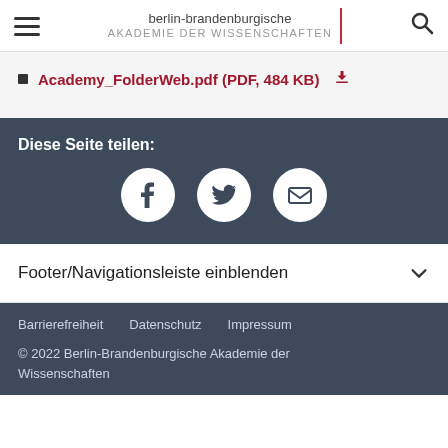berlin-brandenburgische AKADEMIE DER WISSENSCHAFTEN
Academy_FolderWeb.pdf (PDF, 484 KB)
Diese Seite teilen:
[Figure (other): Share icons: Facebook, Twitter, Email on dark background]
Footer/Navigationsleiste einblenden
Barrierefreiheit  Datenschutz  Impressum
© 2022 Berlin-Brandenburgische Akademie der Wissenschaften